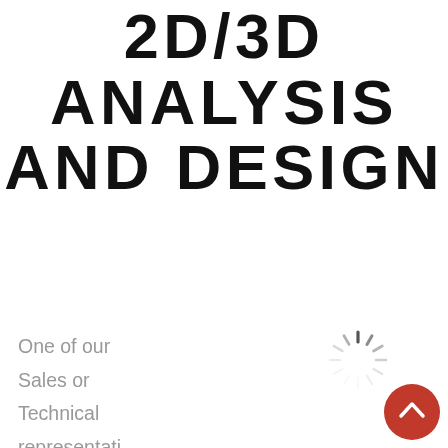2D/3D ANALYSIS AND DESIGN
One of our Sales or Technical representatives will meet you at each venue to determine your sound; stage; lighting; power and set layout requirements, which will conform to each venue.  Another key service
[Figure (other): Loading spinner graphic — circular dashed/spoked spinner icon in grey]
[Figure (other): Red circular scroll-to-top button with white upward chevron arrow]